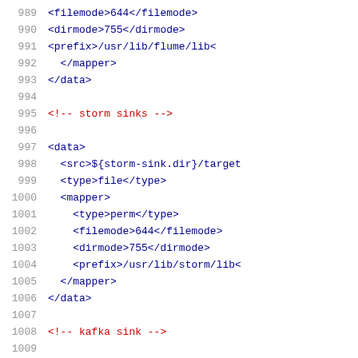989  <filemode>644</filemode>
990  <dirmode>755</dirmode>
991  <prefix>/usr/lib/flume/lib<
992  </mapper>
993  </data>
994
995  <!-- storm sinks -->
996
997  <data>
998  <src>${storm-sink.dir}/target
999  <type>file</type>
1000  <mapper>
1001  <type>perm</type>
1002  <filemode>644</filemode>
1003  <dirmode>755</dirmode>
1004  <prefix>/usr/lib/storm/lib<
1005  </mapper>
1006  </data>
1007
1008  <!-- kafka sink -->
1009